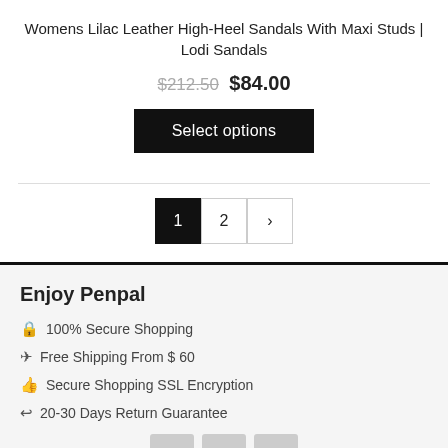Womens Lilac Leather High-Heel Sandals With Maxi Studs | Lodi Sandals
$212.50 $84.00
Select options
1 2 ›
Enjoy Penpal
🔒 100% Secure Shopping
✈ Free Shipping From $ 60
👍 Secure Shopping SSL Encryption
↩ 20-30 Days Return Guarantee